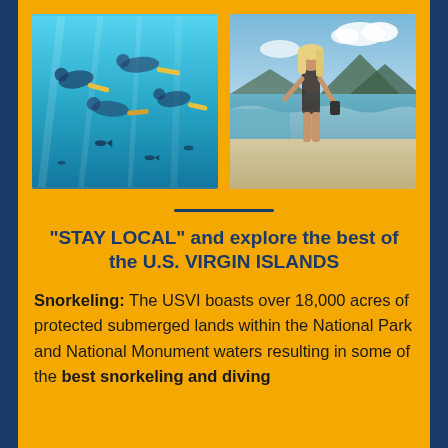[Figure (photo): Underwater snorkeling photo showing multiple people with fins swimming in clear blue water with tropical fish]
[Figure (photo): Photo of a woman in a bikini on a beach with ocean waves and mountains in the background]
“STAY LOCAL” and explore the best of the U.S. VIRGIN ISLANDS
Snorkeling: The USVI boasts over 18,000 acres of protected submerged lands within the National Park and National Monument waters resulting in some of the best snorkeling and diving